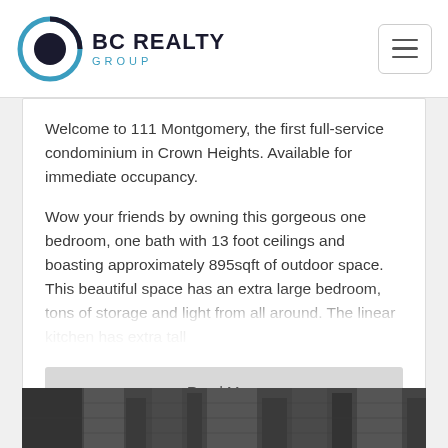BC REALTY GROUP
Welcome to 111 Montgomery, the first full-service condominium in Crown Heights. Available for immediate occupancy.
Wow your friends by owning this gorgeous one bedroom, one bath with 13 foot ceilings and boasting approximately 895sqft of outdoor space. This beautiful space has an extra large bedroom, tons of storage and light from all around. The linear kitchen has extra tall
Read More
Listing Courtesy of Compass
[Figure (photo): Black and white photo of building exterior, partially visible at bottom of page]